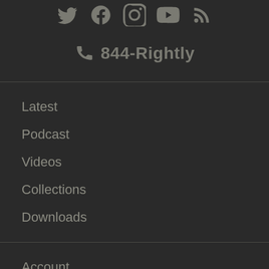[Figure (other): Row of social media icons: Twitter, Facebook, Instagram, YouTube, RSS]
📞 844-Rightly
Latest
Podcast
Videos
Collections
Downloads
Account